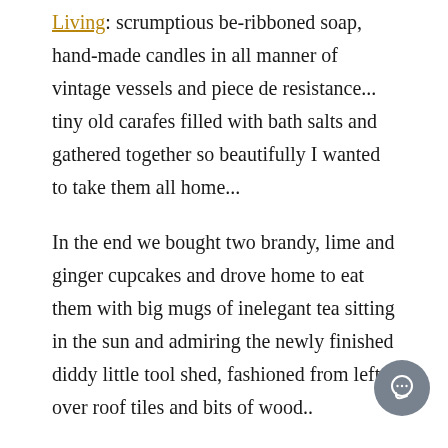Living: scrumptious be-ribboned soap, hand-made candles in all manner of vintage vessels and piece de resistance... tiny old carafes filled with bath salts and gathered together so beautifully I wanted to take them all home...
In the end we bought two brandy, lime and ginger cupcakes and drove home to eat them with big mugs of inelegant tea sitting in the sun and admiring the newly finished diddy little tool shed, fashioned from left over roof tiles and bits of wood..
And then Finn was home and we all sat, his Daddy, Richard and I laughing at him as he posed in a cow hat, beforebing down on the decking for a short little